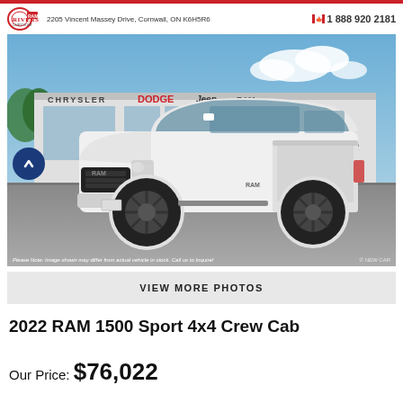Riverside | 2205 Vincent Massey Drive, Cornwall, ON K6H5R6 | 1 888 920 2181
[Figure (photo): White 2022 RAM 1500 Sport 4x4 Crew Cab pickup truck parked in front of Riverside Chrysler Dodge Jeep RAM dealership in Cornwall, Ontario. The dealership facade shows signage for Chrysler, Dodge, Jeep, RAM, and Riverside brands. Blue sky with clouds visible above. A circular navigation arrow button is overlaid on the left side of the image.]
Please Note: Image shown may differ from actual vehicle in stock. Call us to Inquire!
VIEW MORE PHOTOS
2022 RAM 1500 Sport 4x4 Crew Cab
Our Price: $76,022